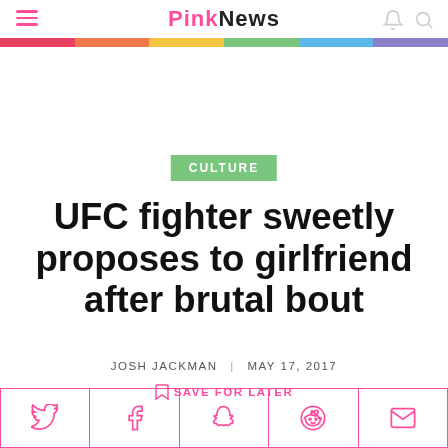PinkNews
CULTURE
UFC fighter sweetly proposes to girlfriend after brutal bout
JOSH JACKMAN | MAY 17, 2017
SAVE FOR LATER
[Figure (infographic): Social share bar with Twitter, Facebook, Snapchat, Reddit, and Email icons in pink outline style]